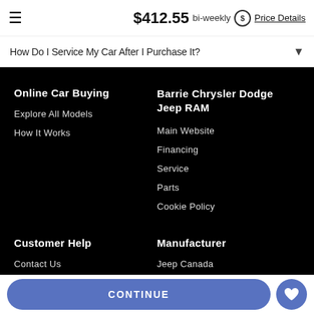$412.55 bi-weekly Price Details
How Do I Service My Car After I Purchase It?
Online Car Buying
Explore All Models
How It Works
Barrie Chrysler Dodge Jeep RAM
Main Website
Financing
Service
Parts
Cookie Policy
Customer Help
Contact Us
Manufacturer
Jeep Canada
CONTINUE